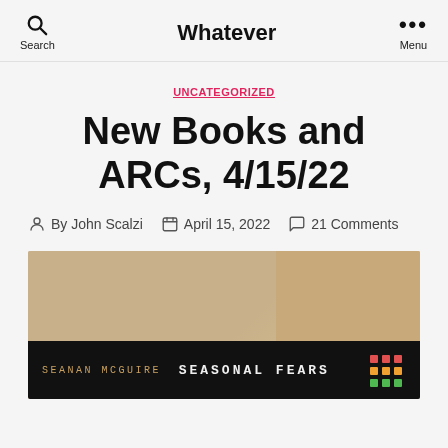Search   Whatever   Menu
UNCATEGORIZED
New Books and ARCs, 4/15/22
By John Scalzi   April 15, 2022   21 Comments
[Figure (photo): Photo of a book with a dark band showing 'SEANAN McGUIRE' and 'SEASONAL FEARS' text, with colorful dot grid icon on the right. The book has a tan/brown cover visible above the dark band.]